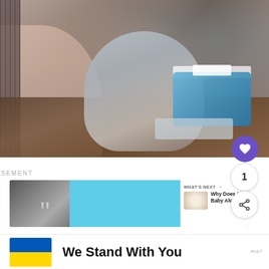[Figure (photo): Photo of an adult and a baby/toddler sitting on a wooden floor, with a blue tissue box and tissue packets visible. The adult appears to be on the left side with pink/light clothing, and the baby in the center wearing gray knit clothing.]
1
ADVERTISEMENT
[Figure (screenshot): Advertisement banner with a cyan/teal background, showing a woman with a large quotation mark on the left side, and a small preview panel on the right side labeled 'WHAT'S NEXT' with text 'Why Does My Baby Alway...' and a close button (X). A Yummly-style icon is visible.]
[Figure (infographic): Bottom banner showing a Ukrainian flag (blue and yellow stripes) on the left, and bold text 'We Stand With You' in the center, with a close (X) button and a logo on the right side.]